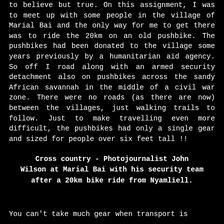to believe but true. On this assignment, I was to meet up with some people in the village of Marial Bai and the only way for me to get there was to ride the 20km on an old pushbike. The pushbikes had been donated to the village some years previously by a humanitarian aid agency. So off I road along with an armed security detachment also on pushbikes across the sandy African savannah in the middle of a civil war zone. There were no roads (as there are now) between the villages, just walking trails to follow. Just to make travelling even more difficult, the pushbikes had only a single gear and sized for people over six feet tall !!
Cross country - Photojournalist John Wilson at Marial Bai with his security team after a 20km bike ride from Nyamliell.
You can't take much gear when transport is